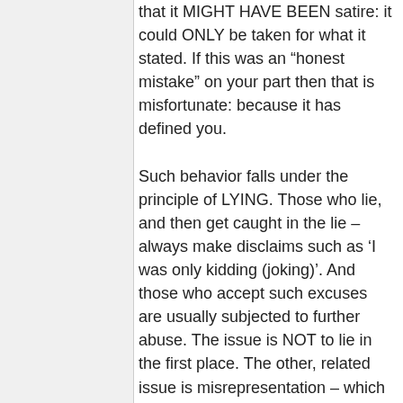that it MIGHT HAVE BEEN satire: it could ONLY be taken for what it stated. If this was an “honest mistake” on your part then that is misfortunate: because it has defined you. Such behavior falls under the principle of LYING. Those who lie, and then get caught in the lie – always make disclaims such as ‘I was only kidding (joking)’. And those who accept such excuses are usually subjected to further abuse. The issue is NOT to lie in the first place. The other, related issue is misrepresentation – which generally uses portions of truth or partial truth in order to gain advantage, and eventually realize self-benefit at the expense of others. I cannot say which of these may apply, if any, to you and some other posters here.